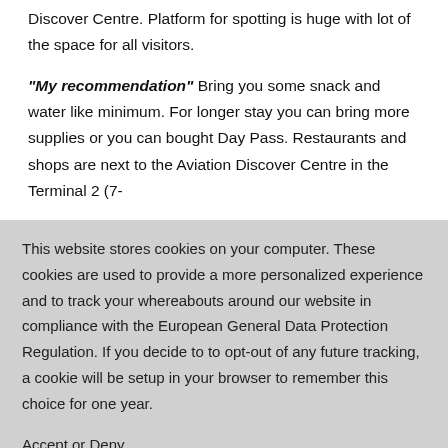Discover Centre. Platform for spotting is huge with lot of the space for all visitors.
“My recommendation” Bring you some snack and water like minimum. For longer stay you can bring more supplies or you can bought Day Pass. Restaurants and shops are next to the Aviation Discover Centre in the Terminal 2 (7-
This website stores cookies on your computer. These cookies are used to provide a more personalized experience and to track your whereabouts around our website in compliance with the European General Data Protection Regulation. If you decide to to opt-out of any future tracking, a cookie will be setup in your browser to remember this choice for one year.
Accept or Deny